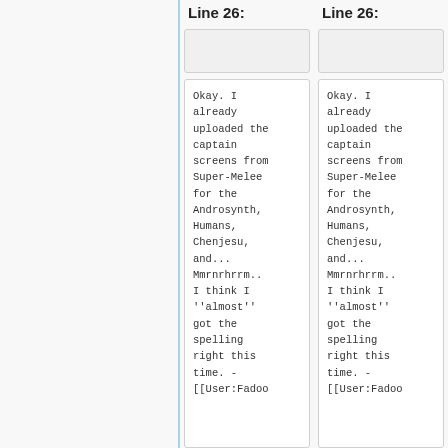Line 26:
Line 26:
Okay. I already uploaded the captain screens from Super-Melee for the Androsynth, Humans, Chenjesu, and... Mmrnrhrrm.. I think I ''almost'' got the spelling right this time. - [[User:Fadoo
Okay. I already uploaded the captain screens from Super-Melee for the Androsynth, Humans, Chenjesu, and... Mmrnrhrrm.. I think I ''almost'' got the spelling right this time. - [[User:Fadoo